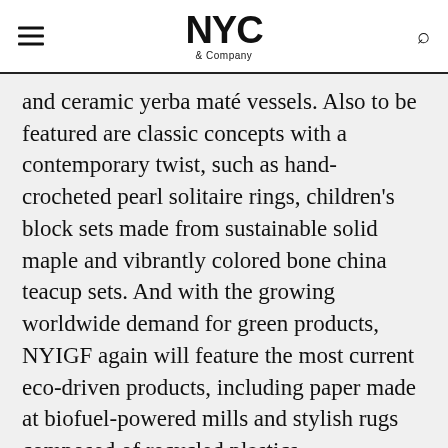NYC & Company
and ceramic yerba maté vessels. Also to be featured are classic concepts with a contemporary twist, such as hand-crocheted pearl solitaire rings, children's block sets made from sustainable solid maple and vibrantly colored bone china teacup sets. And with the growing worldwide demand for green products, NYIGF again will feature the most current eco-driven products, including paper made at biofuel-powered mills and stylish rugs composed of recycled plastics.
"The NYIGF mirrors the creativity, vitality and originality of the City it calls home," said Dorothy Belshaw, NYIGF director and GLM senior vice president. "New York is world renowned as an epicenter of style, technology, innovation. And for us — as the